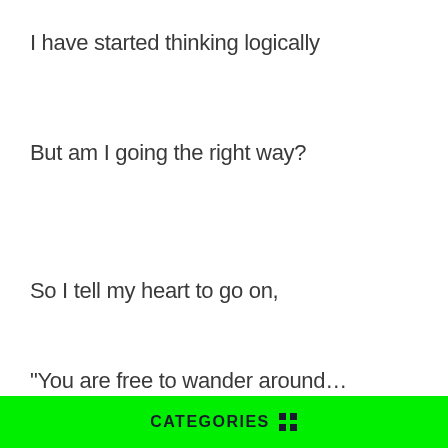I have started thinking logically
But am I going the right way?
So I tell my heart to go on,
“You are free to wander around…
CATEGORIES